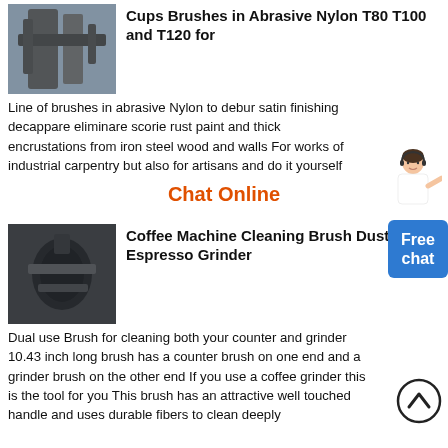[Figure (photo): Industrial machinery or brush equipment, dark industrial setting]
Cups Brushes in Abrasive Nylon T80 T100 and T120 for
Line of brushes in abrasive Nylon to debur satin finishing decappare eliminare scorie rust paint and thick encrustations from iron steel wood and walls For works of industrial carpentry but also for artisans and do it yourself
[Figure (illustration): Customer service assistant illustration - woman in white top pointing]
[Figure (other): Free chat button - blue rounded rectangle with text Free chat]
Chat Online
[Figure (photo): Coffee grinder machine, industrial dark setting]
Coffee Machine Cleaning Brush Dusting Espresso Grinder
Dual use Brush for cleaning both your counter and grinder 10.43 inch long brush has a counter brush on one end and a grinder brush on the other end If you use a coffee grinder this is the tool for you This brush has an attractive well touched handle and uses durable fibers to clean deeply
[Figure (other): Scroll up chevron circle button]